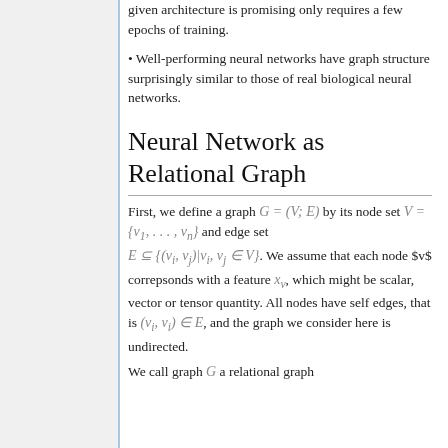given architecture is promising only requires a few epochs of training.
• Well-performing neural networks have graph structure surprisingly similar to those of real biological neural networks.
Neural Network as Relational Graph
First, we define a graph G = (V; E) by its node set V = {v_1, ..., v_n} and edge set E ⊆ {(v_i, v_j)|v_i, v_j ∈ V}. We assume that each node $v$ correpsonds with a feature x_v, which might be scalar, vector or tensor quantity. All nodes have self edges, that is (v_i, v_i) ∈ E, and the graph we consider here is undirected.
We call graph G a relational graph